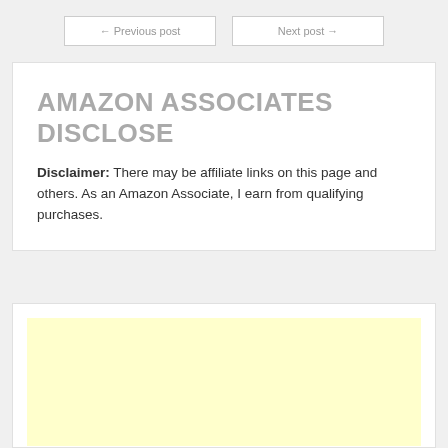← Previous post    Next post →
AMAZON ASSOCIATES DISCLOSE
Disclaimer: There may be affiliate links on this page and others. As an Amazon Associate, I earn from qualifying purchases.
[Figure (other): Yellow advertisement placeholder box]